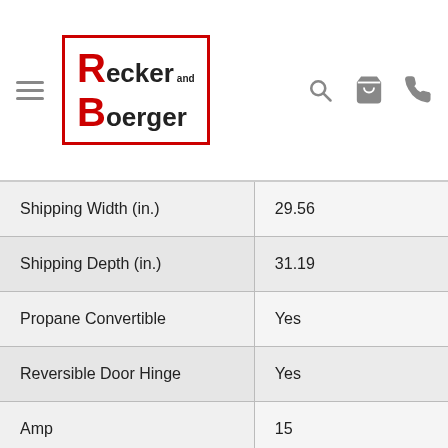Recker and Boerger
| Attribute | Value |
| --- | --- |
| Shipping Width (in.) | 29.56 |
| Shipping Depth (in.) | 31.19 |
| Propane Convertible | Yes |
| Reversible Door Hinge | Yes |
| Amp | 15 |
| Voltage | 120 |
| Frequency | 60 |